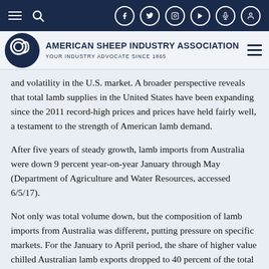American Sheep Industry Association — Your Industry Advocate Since 1865
and volatility in the U.S. market. A broader perspective reveals that total lamb supplies in the United States have been expanding since the 2011 record-high prices and prices have held fairly well, a testament to the strength of American lamb demand.
After five years of steady growth, lamb imports from Australia were down 9 percent year-on-year January through May (Department of Agriculture and Water Resources, accessed 6/5/17).
Not only was total volume down, but the composition of lamb imports from Australia was different, putting pressure on specific markets. For the January to April period, the share of higher value chilled Australian lamb exports dropped to 40 percent of the total – the lowest level for this period since 2012. This was predominantly underpinned by lower chilled exports to the U.S. and the Middle East, and increased tonnage of frozen product to